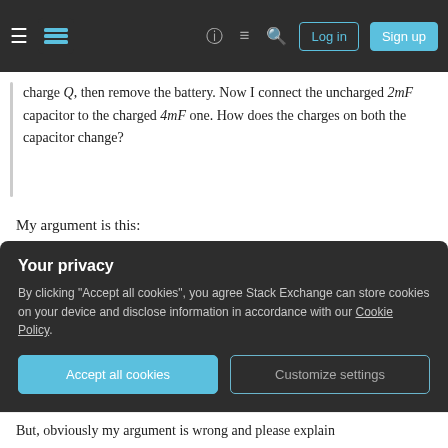Stack Exchange navigation bar with Log in and Sign up buttons
charge Q, then remove the battery. Now I connect the uncharged 2mF capacitor to the charged 4mF one. How does the charges on both the capacitor change?
My argument is this:
The charges on the 4mF capacitor will be equally divided between the 2mF and 4mF, that is Q/2 on each of them. Because if we take one plate of each capacitor and connect them, then the charge will be equally divided.
Your privacy
By clicking "Accept all cookies", you agree Stack Exchange can store cookies on your device and disclose information in accordance with our Cookie Policy.
Accept all cookies  Customize settings
But, obviously my argument is wrong and please explain